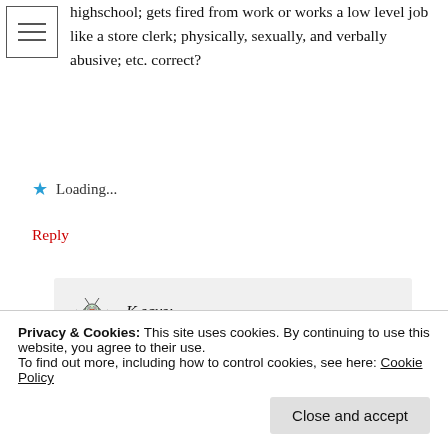[Figure (other): Hamburger menu icon with three horizontal lines inside a square border]
highschool; gets fired from work or works a low level job like a store clerk; physically, sexually, and verbally abusive; etc. correct?
★ Loading...
Reply
K says:
February 5, 2020 at 02:22
L
Correct.
Privacy & Cookies: This site uses cookies. By continuing to use this website, you agree to their use.
To find out more, including how to control cookies, see here: Cookie Policy
Close and accept